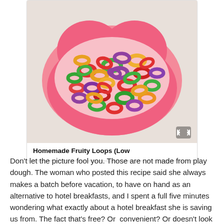[Figure (photo): A pink heart-shaped bowl filled with colorful homemade fruity loop cereal pieces in red, green, yellow, orange, and purple. A small expand/fullscreen icon appears in the bottom right corner of the image.]
Homemade Fruity Loops (Low
Don't let the picture fool you. Those are not made from play dough. The woman who posted this recipe said she always makes a batch before vacation, to have on hand as an alternative to hotel breakfasts, and I spent a full five minutes wondering what exactly about a hotel breakfast she is saving us from. The fact that's free? Or  convenient? Or doesn't look like playdough?